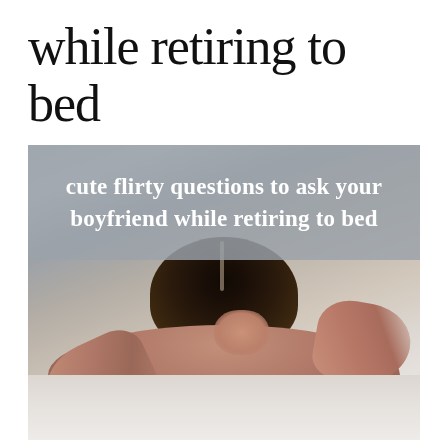while retiring to bed
[Figure (photo): A woman with dark hair lying on a bed face down with her hands near her head, smiling. There is a gray banner overlay at the top of the image with text: 'cute flirty questions to ask your boyfriend while retiring to bed']